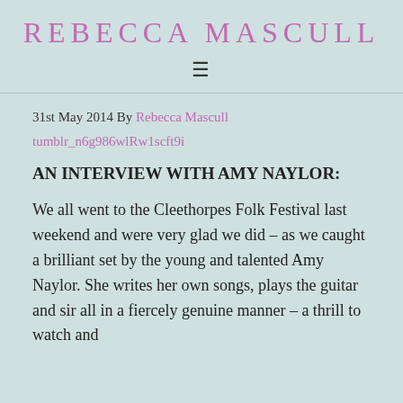REBECCA MASCULL
31st May 2014 By Rebecca Mascull
tumblr_n6g986wlRw1scft9i
AN INTERVIEW WITH AMY NAYLOR:
We all went to the Cleethorpes Folk Festival last weekend and were very glad we did – as we caught a brilliant set by the young and talented Amy Naylor. She writes her own songs, plays the guitar and sir all in a fiercely genuine manner – a thrill to watch and